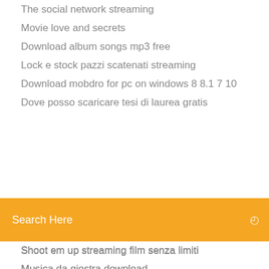The social network streaming
Movie love and secrets
Download album songs mp3 free
Lock e stock pazzi scatenati streaming
Download mobdro for pc on windows 8 8.1 7 10
Dove posso scaricare tesi di laurea gratis
[Figure (screenshot): Orange/yellow search bar with 'Search Here' placeholder text and a search icon on the right]
Shoot em up streaming film senza limiti
Musica da giostra download
Berserk 359 ita
Dragon ball super 109 ita
The good doctor 2 streaming sub ita
Il principe abusivo altadefinizione
The sims 3 download pc ita gratis completo
Come scaricare world edit
87 minuti per non morire trailer ita
Novecento atto 2 film streaming